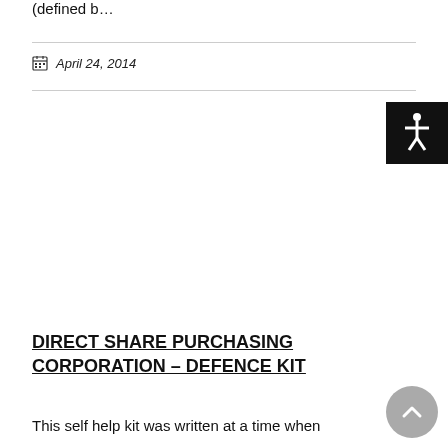(defined b…
April 24, 2014
DIRECT SHARE PURCHASING CORPORATION – DEFENCE KIT
This self help kit was written at a time when